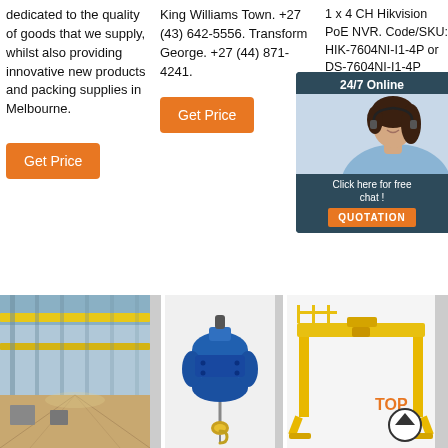dedicated to the quality of goods that we supply, whilst also providing innovative new products and packing supplies in Melbourne.
Get Price
King Williams Town. +27 (43) 642-5556. Transform George. +27 (44) 871-4241.
Get Price
1 x 4 CH Hikvision PoE NVR. Code/SKU: HIK-7604NI-I1-4P or DS-7604NI-I1-4P (Supports 4.0 & Ac cams) 4ch PoE 40Mbps Ports, 4 HDMI, 1
[Figure (photo): Chat widget with woman wearing headset, dark blue background, '24/7 Online' header, 'Click here for free chat!' text, orange QUOTATION button]
Get P
[Figure (photo): Warehouse interior with yellow overhead cranes and steel structure]
[Figure (photo): Blue electric wire rope hoist with hook]
[Figure (photo): Yellow gantry crane with TOP and scroll-up icon overlay]